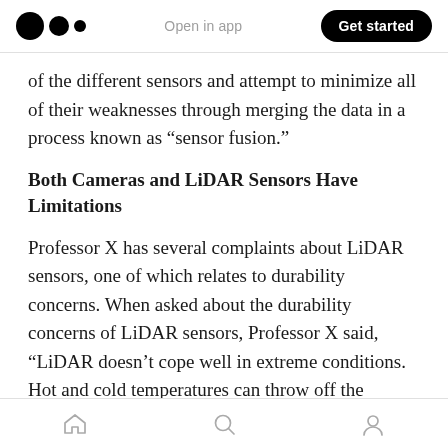Medium logo | Open in app | Get started
of the different sensors and attempt to minimize all of their weaknesses through merging the data in a process known as “sensor fusion.”
Both Cameras and LiDAR Sensors Have Limitations
Professor X has several complaints about LiDAR sensors, one of which relates to durability concerns. When asked about the durability concerns of LiDAR sensors, Professor X said, “LiDAR doesn’t cope well in extreme conditions. Hot and cold temperatures can throw off the
Home | Search | Profile